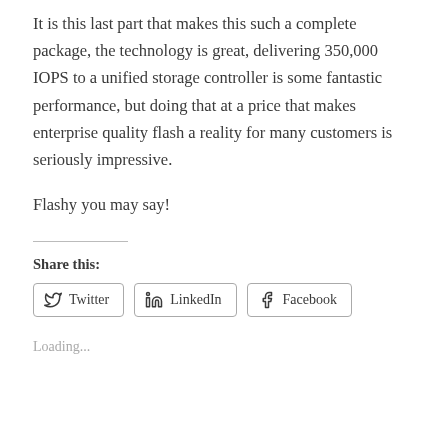It is this last part that makes this such a complete package, the technology is great, delivering 350,000 IOPS to a unified storage controller is some fantastic performance, but doing that at a price that makes enterprise quality flash a reality for many customers is seriously impressive.
Flashy you may say!
Share this:
Twitter  LinkedIn  Facebook
Loading...